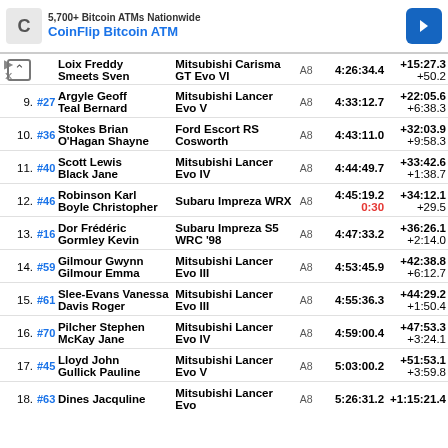[Figure (other): Advertisement banner: CoinFlip Bitcoin ATM with logo and navigation arrow icon]
| Pos | # | Driver/Co-driver | Car | Cls | Time | Gap |
| --- | --- | --- | --- | --- | --- | --- |
|  |  | Loix Freddy / Smeets Sven | Mitsubishi Carisma GT Evo VI | A8 | 4:26:34.4 | +15:27.3 / +50.2 |
| 9. | #27 | Argyle Geoff / Teal Bernard | Mitsubishi Lancer Evo V | A8 | 4:33:12.7 | +22:05.6 / +6:38.3 |
| 10. | #36 | Stokes Brian / O'Hagan Shayne | Ford Escort RS Cosworth | A8 | 4:43:11.0 | +32:03.9 / +9:58.3 |
| 11. | #40 | Scott Lewis / Black Jane | Mitsubishi Lancer Evo IV | A8 | 4:44:49.7 | +33:42.6 / +1:38.7 |
| 12. | #46 | Robinson Karl / Boyle Christopher | Subaru Impreza WRX | A8 | 4:45:19.2 / 0:30 | +34:12.1 / +29.5 |
| 13. | #16 | Dor Frédéric / Gormley Kevin | Subaru Impreza S5 WRC '98 | A8 | 4:47:33.2 | +36:26.1 / +2:14.0 |
| 14. | #59 | Gilmour Gwynn / Gilmour Emma | Mitsubishi Lancer Evo III | A8 | 4:53:45.9 | +42:38.8 / +6:12.7 |
| 15. | #61 | Slee-Evans Vanessa / Davis Roger | Mitsubishi Lancer Evo III | A8 | 4:55:36.3 | +44:29.2 / +1:50.4 |
| 16. | #70 | Pilcher Stephen / McKay Jane | Mitsubishi Lancer Evo IV | A8 | 4:59:00.4 | +47:53.3 / +3:24.1 |
| 17. | #45 | Lloyd John / Gullick Pauline | Mitsubishi Lancer Evo V | A8 | 5:03:00.2 | +51:53.1 / +3:59.8 |
| 18. | #63 | Dines Jacqueline / ... | Mitsubishi Lancer Evo | A8 | 5:26:31.2 | +1:15:21.4 |